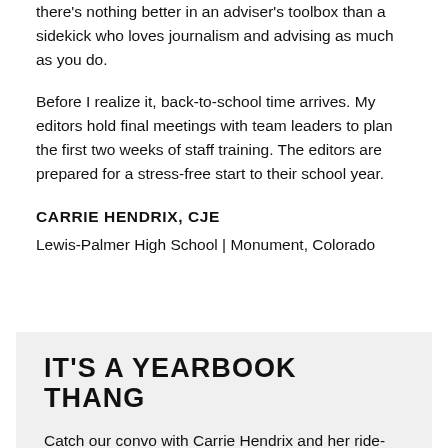there's nothing better in an adviser's toolbox than a sidekick who loves journalism and advising as much as you do.
Before I realize it, back-to-school time arrives. My editors hold final meetings with team leaders to plan the first two weeks of staff training. The editors are prepared for a stress-free start to their school year.
CARRIE HENDRIX, CJE
Lewis-Palmer High School | Monument, Colorado
IT'S A YEARBOOK THANG
Catch our convo with Carrie Hendrix and her ride-or-die Justin Daigle on the Mind the